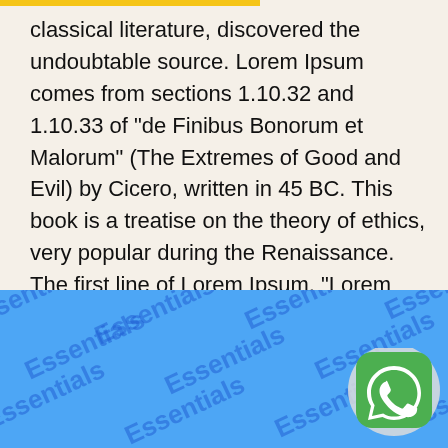classical literature, discovered the undoubtable source. Lorem Ipsum comes from sections 1.10.32 and 1.10.33 of “de Finibus Bonorum et Malorum” (The Extremes of Good and Evil) by Cicero, written in 45 BC. This book is a treatise on the theory of ethics, very popular during the Renaissance. The first line of Lorem Ipsum, “Lorem ipsum dolor sit amet..”, comes from a line in section 1.10.32.
[Figure (other): Blue watermark background with repeating 'Essentials' text in darker blue at various angles, and a WhatsApp icon in the bottom right corner.]